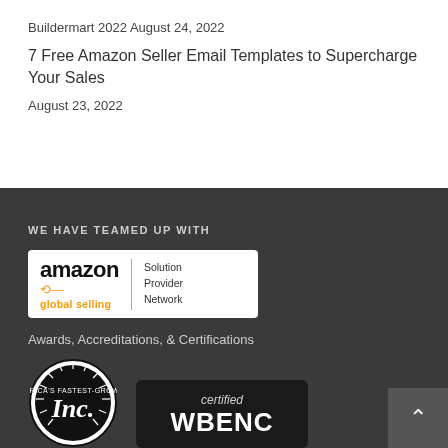Buildermart 2022 August 24, 2022
7 Free Amazon Seller Email Templates to Supercharge Your Sales
August 23, 2022
WE HAVE TEAMED UP WITH
[Figure (logo): Amazon Global Selling Solution Provider Network badge - white background with amazon logo, global selling in orange, and Solution Provider Network text]
Awards, Accreditations, & Certifications
[Figure (logo): Inc. America's Fastest-Growing companies circular badge in black and white]
[Figure (logo): Certified WBENC badge on dark background]